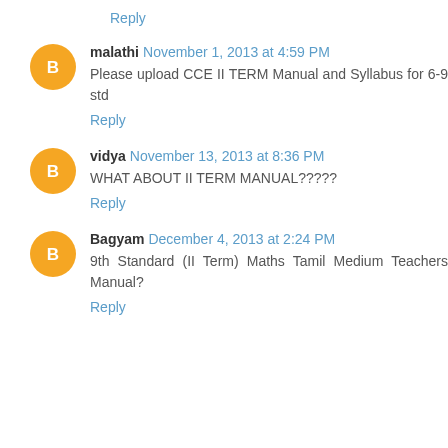Reply
malathi November 1, 2013 at 4:59 PM
Please upload CCE II TERM Manual and Syllabus for 6-9 std
Reply
vidya November 13, 2013 at 8:36 PM
WHAT ABOUT II TERM MANUAL?????
Reply
Bagyam December 4, 2013 at 2:24 PM
9th Standard (II Term) Maths Tamil Medium Teachers Manual?
Reply